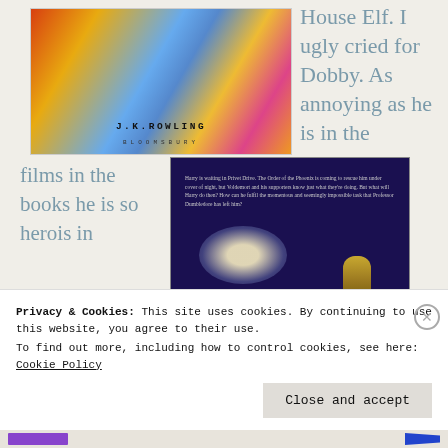[Figure (photo): Book cover of a Harry Potter book by J.K. Rowling, published by Bloomsbury, with colorful fantasy artwork]
House Elf. I ugly cried for Dobby. As annoying as he is in the
films in the books he is so herois in
[Figure (photo): Interior back cover of a Harry Potter book with dark blue background, text description, and glowing moon illustration]
Privacy & Cookies: This site uses cookies. By continuing to use this website, you agree to their use.
To find out more, including how to control cookies, see here: Cookie Policy
Close and accept